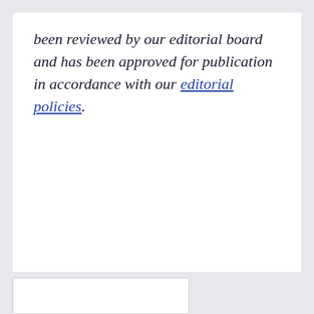been reviewed by our editorial board and has been approved for publication in accordance with our editorial policies.